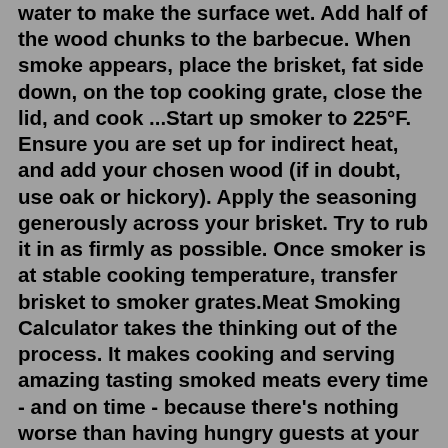water to make the surface wet. Add half of the wood chunks to the barbecue. When smoke appears, place the brisket, fat side down, on the top cooking grate, close the lid, and cook ...Start up smoker to 225°F. Ensure you are set up for indirect heat, and add your chosen wood (if in doubt, use oak or hickory). Apply the seasoning generously across your brisket. Try to rub it in as firmly as possible. Once smoker is at stable cooking temperature, transfer brisket to smoker grates.Meat Smoking Calculator takes the thinking out of the process. It makes cooking and serving amazing tasting smoked meats every time - and on time - because there's nothing worse than having hungry guests at your home waiting to eat because you didn't get the timing right. Simply select the type of meat you want to smoke, enter the weight and ... Trim the fat cap, leaving about 1/4-inch of fat. Trim away any other excess fat on the brisket. Remove the silver skin from the underside of the meat. Preheat your electric smoker to 225°F. While